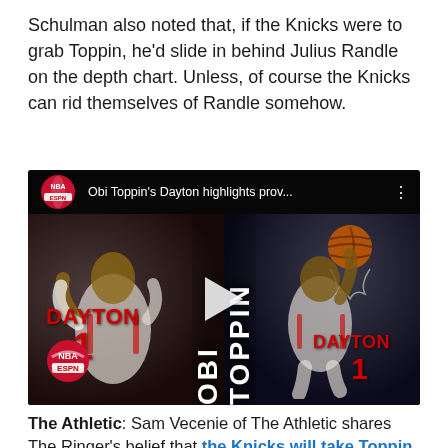Schulman also noted that, if the Knicks were to grab Toppin, he'd slide in behind Julius Randle on the depth chart. Unless, of course the Knicks can rid themselves of Randle somehow.
[Figure (screenshot): YouTube video thumbnail showing Obi Toppin's Dayton highlights. Split-screen with two images of Obi Toppin in Dayton #1 jersey. Left shows him celebrating, right shows him dunking. NBA ESPN logo visible. Title text reads 'Obi Toppin's Dayton highlights prov...' Play button in center. Vertical text 'OBI TOPPIN' overlaid in center.]
The Athletic: Sam Vecenie of The Athletic shares The Ringer's belief that the Knicks will take Toppin.